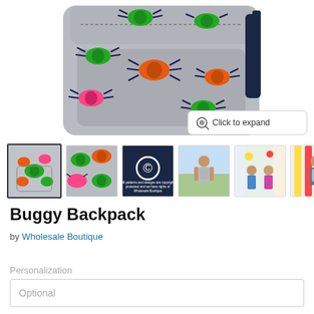[Figure (photo): Main product image of a grey backpack with colorful bug/beetle pattern in green, orange, pink, and blue. Navy blue shoulder strap visible on right side. White background.]
[Figure (screenshot): Click to expand button overlay on main image]
[Figure (photo): Row of 6 thumbnail images: 1) selected thumbnail of grey backpack with bug pattern, 2) close-up of bug pattern fabric, 3) dark blue copyright notice image, 4) child wearing the backpack, 5) two children near colorful pencil display, 6) person wearing backpack near large pencils]
Buggy Backpack
by Wholesale Boutique
Personalization
Optional